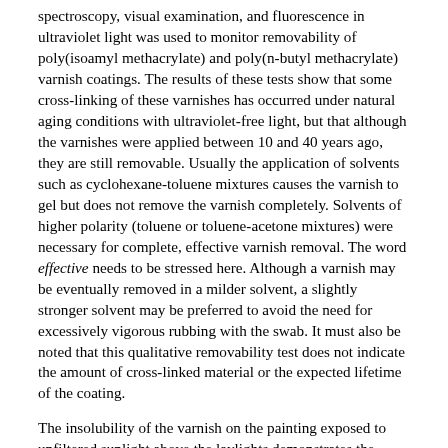spectroscopy, visual examination, and fluorescence in ultraviolet light was used to monitor removability of poly(isoamyl methacrylate) and poly(n-butyl methacrylate) varnish coatings. The results of these tests show that some cross-linking of these varnishes has occurred under natural aging conditions with ultraviolet-free light, but that although the varnishes were applied between 10 and 40 years ago, they are still removable. Usually the application of solvents such as cyclohexane-toluene mixtures causes the varnish to gel but does not remove the varnish completely. Solvents of higher polarity (toluene or toluene-acetone mixtures) were necessary for complete, effective varnish removal. The word effective needs to be stressed here. Although a varnish may be eventually removed in a milder solvent, a slightly stronger solvent may be preferred to avoid the need for excessively vigorous rubbing with the swab. It must also be noted that this qualitative removability test does not indicate the amount of cross-linked material or the expected lifetime of the coating.
The insolubility of the varnish on the painting exposed to unfiltered sunlight above the laylights demonstrates the effect of ultraviolet filters and reduced light levels. The National Gallery of Art has ultraviolet filters over the skylights. The fact that these varnishes could be removed after 30 to 40 years demonstrates the material's superior resistance to the